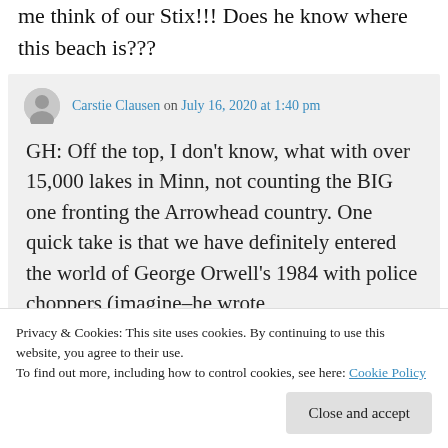me think of our Stix!!! Does he know where this beach is???
Carstie Clausen on July 16, 2020 at 1:40 pm
GH: Off the top, I don't know, what with over 15,000 lakes in Minn, not counting the BIG one fronting the Arrowhead country. One quick take is that we have definitely entered the world of George Orwell's 1984 with police choppers (imagine–he wrote
Big Brother (& the holding company)
Privacy & Cookies: This site uses cookies. By continuing to use this website, you agree to their use.
To find out more, including how to control cookies, see here: Cookie Policy